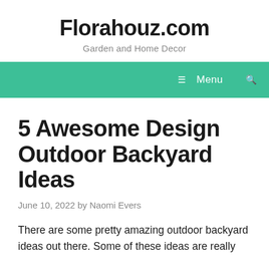Florahouz.com
Garden and Home Decor
Menu
5 Awesome Design Outdoor Backyard Ideas
June 10, 2022 by Naomi Evers
There are some pretty amazing outdoor backyard ideas out there. Some of these ideas are really